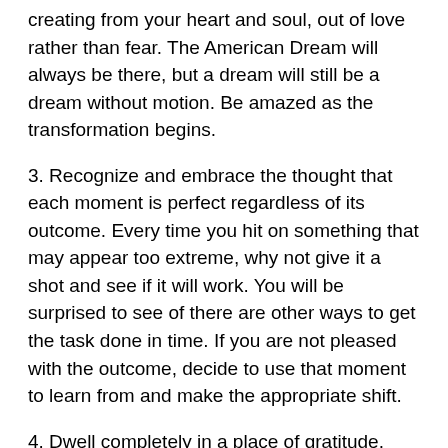creating from your heart and soul, out of love rather than fear. The American Dream will always be there, but a dream will still be a dream without motion. Be amazed as the transformation begins.
3. Recognize and embrace the thought that each moment is perfect regardless of its outcome. Every time you hit on something that may appear too extreme, why not give it a shot and see if it will work. You will be surprised to see of there are other ways to get the task done in time. If you are not pleased with the outcome, decide to use that moment to learn from and make the appropriate shift.
4. Dwell completely in a place of gratitude. Learn to utilize what you have in your hands and make use of it in the most constructive way. Slipping into neediness will become less of a habit when you repeatedly shift towards gratitude, away from poverty consciousness.
5. Use a Passion Formula of Recognize/Reevaluate/Restore in place of the Shoulda/Woulda/Coulda whirlwind. The former is